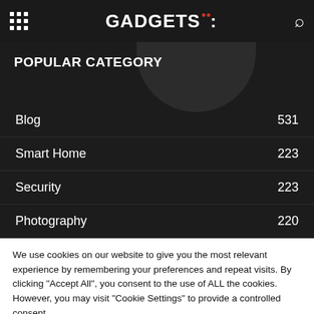GADGETS
POPULAR CATEGORY
Blog  531
Smart Home  223
Security  223
Photography  220
Phones  216
Computing  198
We use cookies on our website to give you the most relevant experience by remembering your preferences and repeat visits. By clicking "Accept All", you consent to the use of ALL the cookies. However, you may visit "Cookie Settings" to provide a controlled consent.
Cookie Settings | Accept All